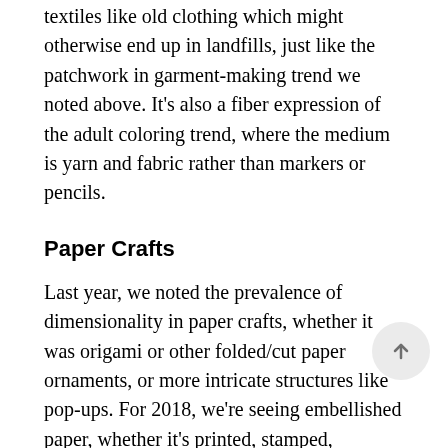textiles like old clothing which might otherwise end up in landfills, just like the patchwork in garment-making trend we noted above. It's also a fiber expression of the adult coloring trend, where the medium is yarn and fabric rather than markers or pencils.
Paper Crafts
Last year, we noted the prevalence of dimensionality in paper crafts, whether it was origami or other folded/cut paper ornaments, or more intricate structures like pop-ups. For 2018, we're seeing embellished paper, whether it's printed, stamped,